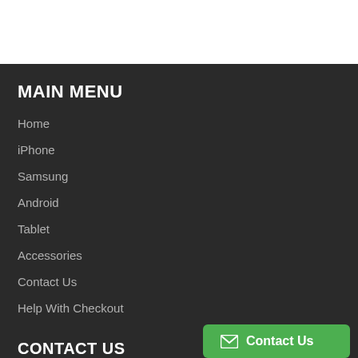MAIN MENU
Home
iPhone
Samsung
Android
Tablet
Accessories
Contact Us
Help With Checkout
CONTACT US
Contact Us